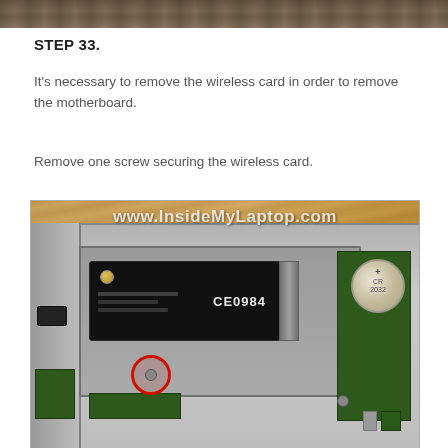[Figure (photo): Top strip showing partial view of laptop internals from previous step]
STEP 33.
It's necessary to remove the wireless card in order to remove the motherboard.
Remove one screw securing the wireless card.
[Figure (photo): Photo of laptop motherboard area showing wireless card (black card with CE0984 marking) with a red circle highlighting the screw location. Green PCB visible to the right with coin cell battery. Watermark reads www.InsideMyLaptop.com]